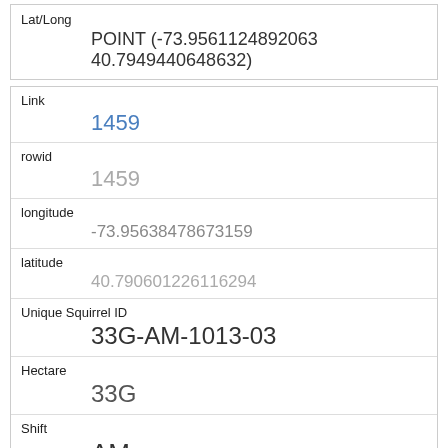| Lat/Long | POINT (-73.9561124892063 40.7949440648632) |
| Link | 1459 |
| rowid | 1459 |
| longitude | -73.95638478673159 |
| latitude | 40.790601226116294 |
| Unique Squirrel ID | 33G-AM-1013-03 |
| Hectare | 33G |
| Shift | AM |
| Date | 10132018 |
| Hectare Squirrel Number |  |